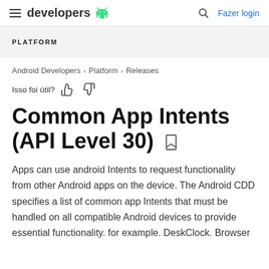developers [Android logo] | [search] Fazer login
PLATFORM
Android Developers > Platform > Releases
Isso foi útil? [thumbs up] [thumbs down]
Common App Intents (API Level 30)
Apps can use android Intents to request functionality from other Android apps on the device. The Android CDD specifies a list of common app Intents that must be handled on all compatible Android devices to provide essential functionality. for example. DeskClock. Browser